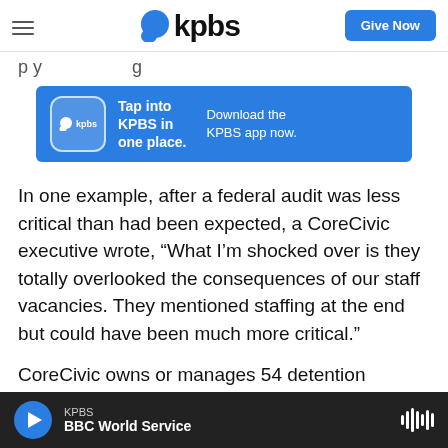kpbs — Give Now
p y   g
[Figure (infographic): KPBS app advertisement banner. Blue background with KPBS logo icon. Text: 'Tap into KPBS in one place. Download the KPBS app now.']
In one example, after a federal audit was less critical than had been expected, a CoreCivic executive wrote, “What I’m shocked over is they totally overlooked the consequences of our staff vacancies. They mentioned staffing at the end but could have been much more critical.”
CoreCivic owns or manages 54 detention facilities, including one in Otay Mesa, with a combined
KPBS  BBC World Service